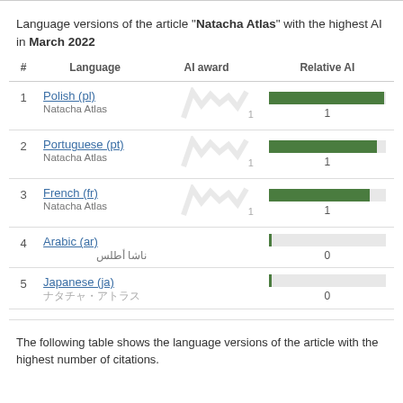Language versions of the article "Natacha Atlas" with the highest AI in March 2022
| # | Language | AI award | Relative AI |
| --- | --- | --- | --- |
| 1 | Polish (pl)
Natacha Atlas | 1 | 1 |
| 2 | Portuguese (pt)
Natacha Atlas | 1 | 1 |
| 3 | French (fr)
Natacha Atlas | 1 | 1 |
| 4 | Arabic (ar)
ناشا أطلس |  | 0 |
| 5 | Japanese (ja)
ナタチャ・アトラス |  | 0 |
The following table shows the language versions of the article with the highest number of citations.